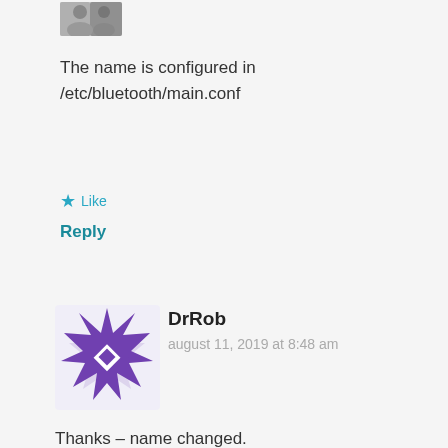[Figure (photo): Small avatar photo of a person, grayscale, top of page]
The name is configured in /etc/bluetooth/main.conf
★ Like
Reply
[Figure (illustration): Purple geometric snowflake/star pattern avatar for DrRob]
DrRob
august 11, 2019 at 8:48 am
Thanks – name changed.
But that's made me aware that it has a filesystem mounted rw, which means that I should do clean shutdowns rather than just disconnect the power? I was hoping to use this